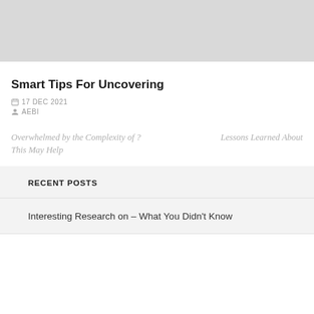[Figure (photo): Gray placeholder image at top of page]
Smart Tips For Uncovering
17 DEC 2021
AEBI
Overwhelmed by the Complexity of ? This May Help
Lessons Learned About
RECENT POSTS
Interesting Research on – What You Didn't Know